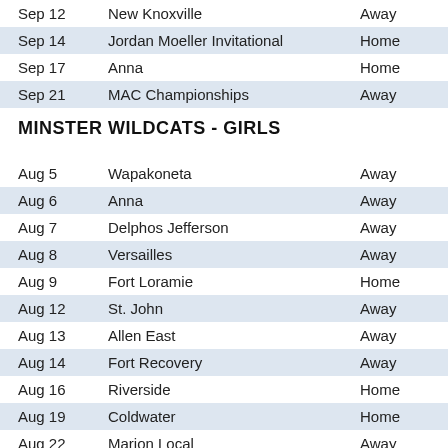| Date | Event | Location |
| --- | --- | --- |
| Sep 12 | New Knoxville | Away |
| Sep 14 | Jordan Moeller Invitational | Home |
| Sep 17 | Anna | Home |
| Sep 21 | MAC Championships | Away |
MINSTER WILDCATS - GIRLS
| Date | Event | Location |
| --- | --- | --- |
| Aug 5 | Wapakoneta | Away |
| Aug 6 | Anna | Away |
| Aug 7 | Delphos Jefferson | Away |
| Aug 8 | Versailles | Away |
| Aug 9 | Fort Loramie | Home |
| Aug 12 | St. John | Away |
| Aug 13 | Allen East | Away |
| Aug 14 | Fort Recovery | Away |
| Aug 16 | Riverside | Home |
| Aug 19 | Coldwater | Home |
| Aug 22 | Marion Local | Away |
| Aug 26 | New Bremen | Home |
| Aug 29 | Versailles | Away |